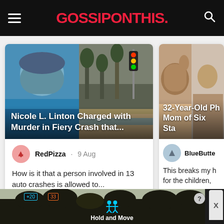GOSSIPONTHIS.
[Figure (screenshot): Article card: Nicole L. Linton Charged with Murder in Fiery Crash that... with photo collage of person and crash scene]
RedPizza · 9 Aug
How is it that a person involved in 13 auto crashes is allowed to...
🔥 Top Comment   👍 5
[Figure (screenshot): Partial article card: 32-Year-Old Ph... Mom of Six Sta... with photo of woman, user BlueButter, comment: This breaks my h... for the children,]
[Figure (screenshot): Advertisement banner at bottom: Hold and Move app ad with tree scene]